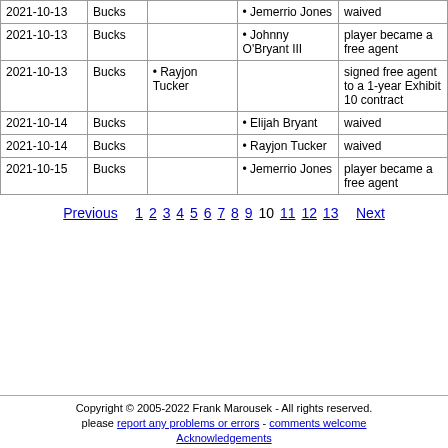| Date | Team | Acquired | Released | Notes |
| --- | --- | --- | --- | --- |
| 2021-10-13 | Bucks |  | • Jemerrio Jones | waived |
| 2021-10-13 | Bucks |  | • Johnny O'Bryant III | player became a free agent |
| 2021-10-13 | Bucks | • Rayjon Tucker |  | signed free agent to a 1-year Exhibit 10 contract |
| 2021-10-14 | Bucks |  | • Elijah Bryant | waived |
| 2021-10-14 | Bucks |  | • Rayjon Tucker | waived |
| 2021-10-15 | Bucks |  | • Jemerrio Jones | player became a free agent |
Previous  1 2 3 4 5 6 7 8 9 10 11 12 13  Next
Copyright © 2005-2022 Frank Marousek - All rights reserved. please report any problems or errors - comments welcome Acknowledgements